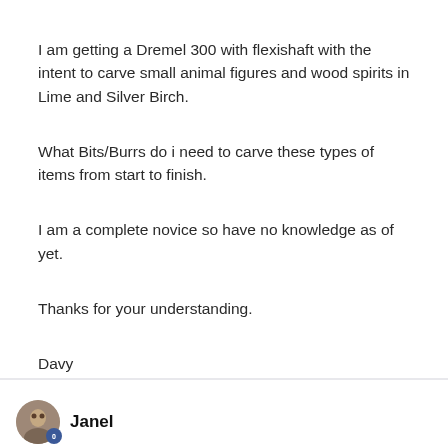I am getting a Dremel 300 with flexishaft with the intent to carve small animal figures and wood spirits in Lime and Silver Birch.
What Bits/Burrs do i need to carve these types of items from start to finish.
I am a complete novice so have no knowledge as of yet.
Thanks for your understanding.
Davy
Janel